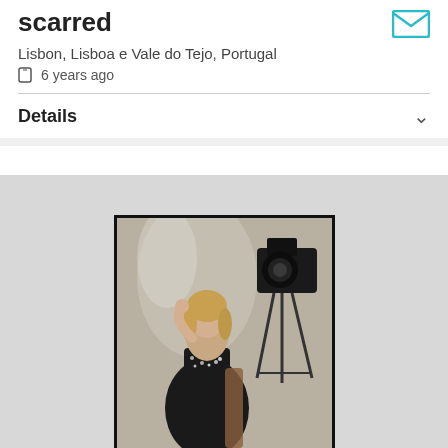scarred
Lisbon, Lisboa e Vale do Tejo, Portugal
6 years ago
Details
[Figure (photo): A woman in a black sequined top seated, resting her hand on her head, with a DSLR camera on a tripod visible in the background. Photo shoot setting with reflective backdrop.]